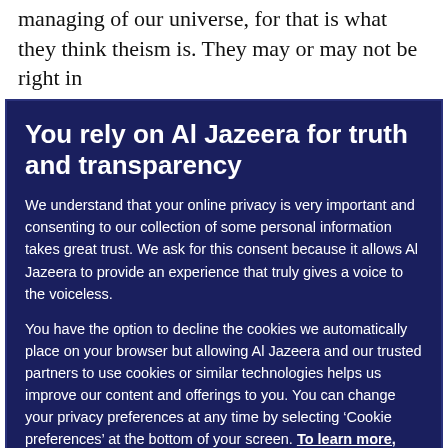managing of our universe, for that is what they think theism is. They may or may not be right in
You rely on Al Jazeera for truth and transparency
We understand that your online privacy is very important and consenting to our collection of some personal information takes great trust. We ask for this consent because it allows Al Jazeera to provide an experience that truly gives a voice to the voiceless.
You have the option to decline the cookies we automatically place on your browser but allowing Al Jazeera and our trusted partners to use cookies or similar technologies helps us improve our content and offerings to you. You can change your privacy preferences at any time by selecting ‘Cookie preferences’ at the bottom of your screen. To learn more, please view our Cookie Policy.